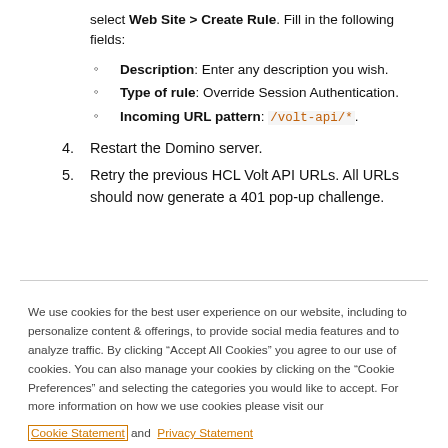select Web Site > Create Rule. Fill in the following fields:
Description: Enter any description you wish.
Type of rule: Override Session Authentication.
Incoming URL pattern: /volt-api/*.
4. Restart the Domino server.
5. Retry the previous HCL Volt API URLs. All URLs should now generate a 401 pop-up challenge.
We use cookies for the best user experience on our website, including to personalize content & offerings, to provide social media features and to analyze traffic. By clicking “Accept All Cookies” you agree to our use of cookies. You can also manage your cookies by clicking on the “Cookie Preferences” and selecting the categories you would like to accept. For more information on how we use cookies please visit our Cookie Statement and Privacy Statement